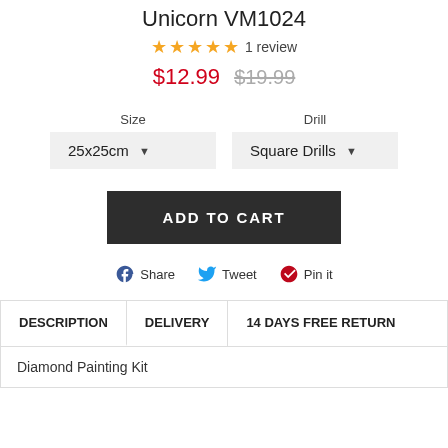Unicorn VM1024
★★★★★ 1 review
$12.99  $19.99
Size: 25x25cm   Drill: Square Drills
ADD TO CART
Share  Tweet  Pin it
DESCRIPTION  DELIVERY  14 DAYS FREE RETURN
Diamond Painting Kit